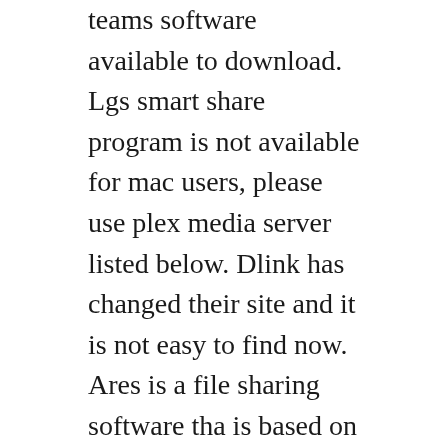teams software available to download. Lgs smart share program is not available for mac users, please use plex media server listed below. Dlink has changed their site and it is not easy to find now. Ares is a file sharing software tha is based on p2p networks. How to share your windows 7 or 8 screen on your lg webos tv.
Samsungs media sharing experience for pc and android. Where can i download the dlink media server software for my computer. Most peertopeer p2p software see examples below has file sharing features that are turned on by